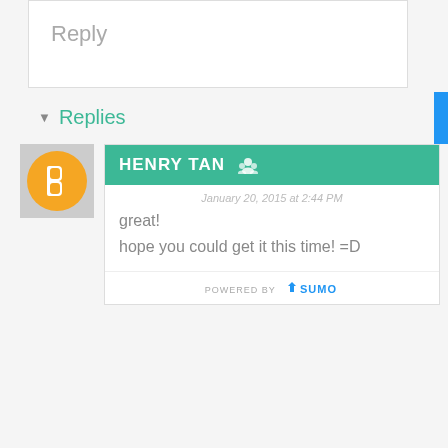Reply
▼ Replies
[Figure (screenshot): Comment card from Henry Tan with teal header, dated January 20, 2015 at 2:44 PM, saying 'great! hope you could get it this time! =D', with Powered by SUMO badge at bottom]
Get latest updates!
Signup today for free and be the first to get notified on new updates.
Enter your Email
Subscribe Now